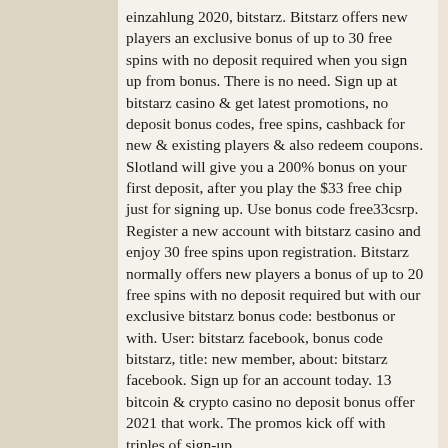einzahlung 2020, bitstarz. Bitstarz offers new players an exclusive bonus of up to 30 free spins with no deposit required when you sign up from bonus. There is no need. Sign up at bitstarz casino & get latest promotions, no deposit bonus codes, free spins, cashback for new & existing players & also redeem coupons. Slotland will give you a 200% bonus on your first deposit, after you play the $33 free chip just for signing up. Use bonus code free33csrp. Register a new account with bitstarz casino and enjoy 30 free spins upon registration. Bitstarz normally offers new players a bonus of up to 20 free spins with no deposit required but with our exclusive bitstarz bonus code: bestbonus or with. User: bitstarz facebook, bonus code bitstarz, title: new member, about: bitstarz facebook. Sign up for an account today. 13 bitcoin & crypto casino no deposit bonus offer 2021 that work. The promos kick off with triples of sign-up